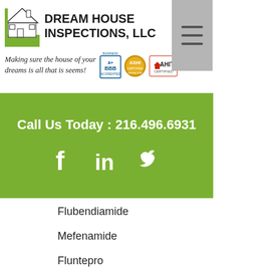[Figure (logo): Dream House Inspections, LLC logo with house illustration, BBB A+ accredited, ASHI Certified Inspector, and AHIT Certified badges. Tagline: Making sure the house of your dreams is all that it seems!]
Call Us Today : 216.496.6931
[Figure (illustration): Social media icons: Facebook (f), LinkedIn (in), Twitter (bird)]
Flubendiamide
Mefenamide
Fluntepro
Flundamate
Flunade
Flunepro